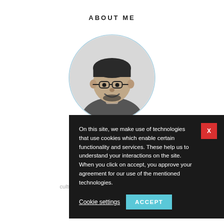ABOUT ME
[Figure (photo): Circular profile photo of a smiling man with glasses, in black and white, with a light blue circular border.]
Hi! I'm M... and p... projec... watchin... traveling... culture and meeting new people. I'm also a
On this site, we make use of technologies that use cookies which enable certain functionality and services. These help us to understand your interactions on the site. When you click on accept, you approve your agreement for our use of the mentioned technologies.
Cookie settings
ACCEPT